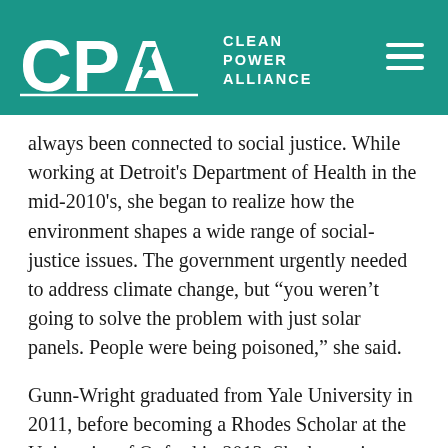CPA Clean Power Alliance
always been connected to social justice. While working at Detroit's Department of Health in the mid-2010's, she began to realize how the environment shapes a wide range of social-justice issues. The government urgently needed to address climate change, but “you weren’t going to solve the problem with just solar panels. People were being poisoned,” she said.
Gunn-Wright graduated from Yale University in 2011, before becoming a Rhodes Scholar at the University of Oxford in 2013. She has written for ‘The